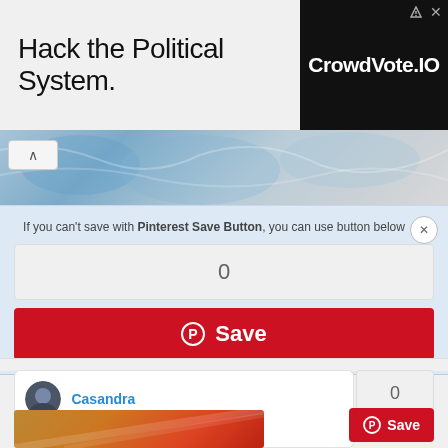Hack the Political System.
[Figure (logo): CrowdVote.IO advertisement banner with dark background]
[Figure (photo): Blue fabric or clothing material photo strip]
If you can't save with Pinterest Save Button, you can use button below
0
Save
Casandra
0
Save
[Figure (photo): Partial image at the bottom showing colorful material]